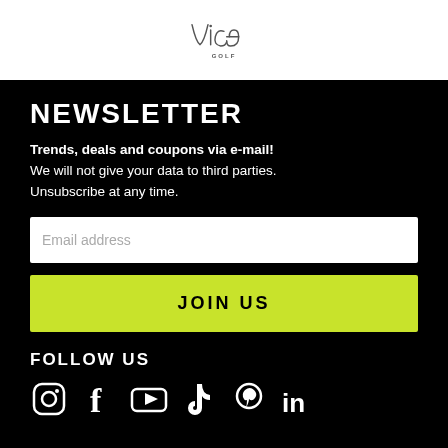[Figure (logo): Vice Golf logo — cursive 'vice' script above 'GOLF' in small caps]
NEWSLETTER
Trends, deals and coupons via e-mail! We will not give your data to third parties. Unsubscribe at any time.
Email address
JOIN US
FOLLOW US
[Figure (illustration): Social media icons: Instagram, Facebook, YouTube, TikTok, Pinterest, LinkedIn]